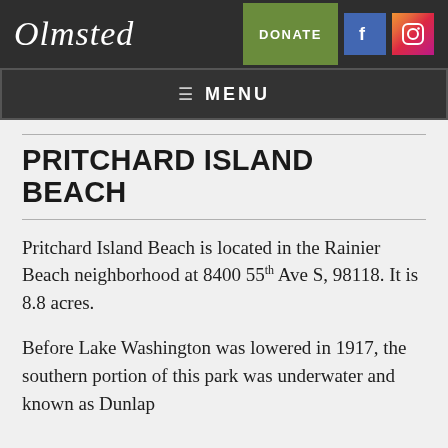Olmsted | DONATE
≡ MENU
PRITCHARD ISLAND BEACH
Pritchard Island Beach is located in the Rainier Beach neighborhood at 8400 55th Ave S, 98118. It is 8.8 acres.
Before Lake Washington was lowered in 1917, the southern portion of this park was underwater and known as Dunlap